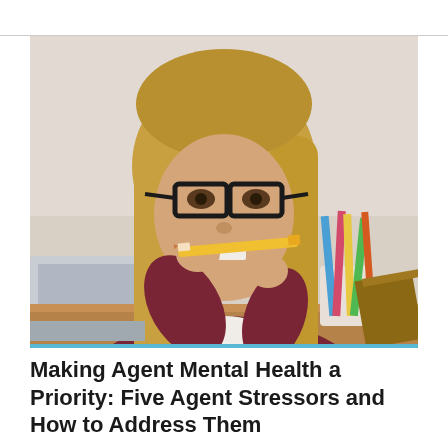[Figure (photo): A young woman with long blonde hair and black-rimmed glasses biting a pencil while looking at a laptop, surrounded by colored pencils, appearing stressed.]
Making Agent Mental Health a Priority: Five Agent Stressors and How to Address Them
Execs In The Know